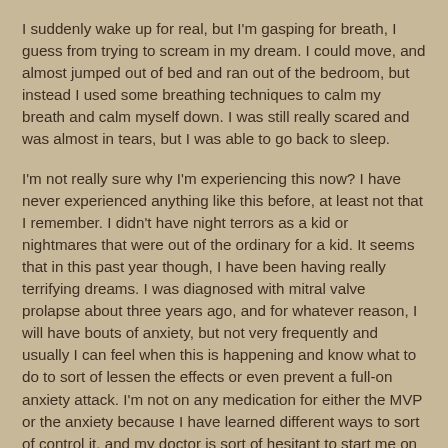I suddenly wake up for real, but I'm gasping for breath, I guess from trying to scream in my dream. I could move, and almost jumped out of bed and ran out of the bedroom, but instead I used some breathing techniques to calm my breath and calm myself down. I was still really scared and was almost in tears, but I was able to go back to sleep.
I'm not really sure why I'm experiencing this now? I have never experienced anything like this before, at least not that I remember. I didn't have night terrors as a kid or nightmares that were out of the ordinary for a kid. It seems that in this past year though, I have been having really terrifying dreams. I was diagnosed with mitral valve prolapse about three years ago, and for whatever reason, I will have bouts of anxiety, but not very frequently and usually I can feel when this is happening and know what to do to sort of lessen the effects or even prevent a full-on anxiety attack. I'm not on any medication for either the MVP or the anxiety because I have learned different ways to sort of control it, and my doctor is sort of hesitant to start me on anything because of some of the side effects. I know that probably a lot of this and the recent nightmares can probably be linked to that, but I'm just not really sure why suddenly this year I'm experiencing these new and unusual occurrences. I never ask for medication because they probably didn't think about that,